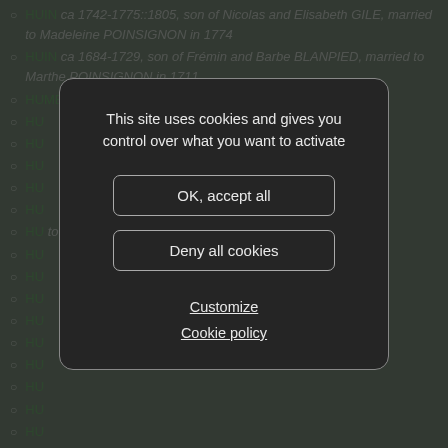HUIN ca 1742-1775::1805, son of Nicolas and Elisabeth GILE, married to Madeleine POINSIGNON in 1774
HUIN ca 1684-1729, son of Frémin and Barbe BLANPIED, married to Marthe POINSIGNON in 1711
HUMBERT ca 1820-1846/
HU...
HU...
HU...
HU...
HU...
HU... ...to Marie The...
HU...
HU...
HU...
HU...
HU...
HU...
HU...
HU...
HU...
HU...
HUMBERT /1663-1683/
HURCY ca 1770-1816/
HURQUIENNE /1678-1696/
HUSSENOT /1745-1765/
HUSSENOT /1722-1742/
[Figure (screenshot): Cookie consent modal dialog with dark background (#252525), rounded border. Contains text 'This site uses cookies and gives you control over what you want to activate', two buttons ('OK, accept all' and 'Deny all cookies') with rounded rectangle borders, and two underlined links ('Customize' and 'Cookie policy').]